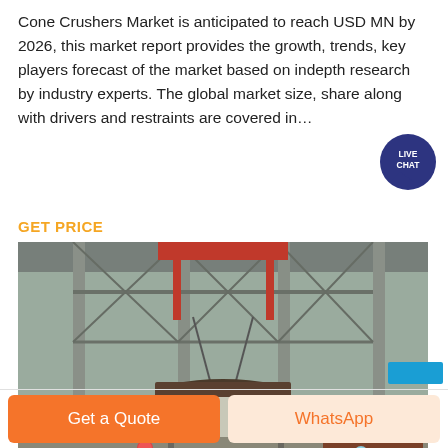Cone Crushers Market is anticipated to reach USD MN by 2026, this market report provides the growth, trends, key players forecast of the market based on indepth research by industry experts. The global market size, share along with drivers and restraints are covered in…
GET PRICE
[Figure (photo): Industrial facility interior showing a large crane lifting heavy equipment (possibly a large crusher component) in a factory warehouse. Workers in hard hats and white coats visible below large machinery.]
Get a Quote
WhatsApp